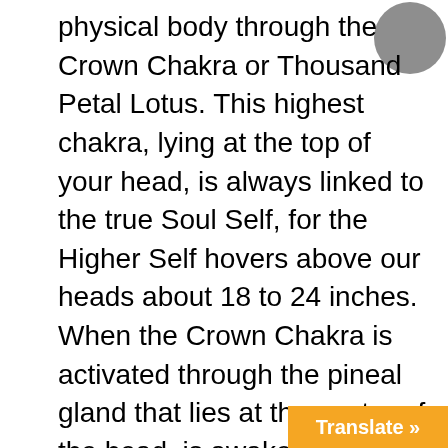physical body through the Crown Chakra or Thousand Petal Lotus. This highest chakra, lying at the top of your head, is always linked to the true Soul Self, for the Higher Self hovers above our heads about 18 to 24 inches. When the Crown Chakra is activated through the pineal gland that lies at the center of the head, is awakens the Inner Sight or Third Eye.

This is the window through which we learn to perceive the realms of Heaven. Unlike the Silver Cord, this direct connection is unfettered, allowing the Soul Consciousness of the individual to awaken, and once freed to move in 360 directions in all